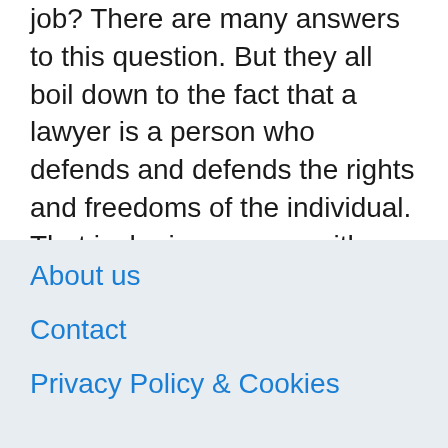job? There are many answers to this question. But they all boil down to the fact that a lawyer is a person who defends and defends the rights and freedoms of the individual. That is, he is a person with an active life position, honest and decent, ready for self-sacrifice. In many countries, lawyers are valued and respected not only for their professionalism, but also for their personal qualities.
About us | Contact | Privacy Policy & Cookies